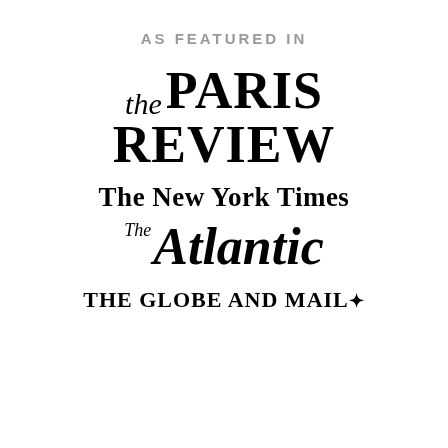AS FEATURED IN
[Figure (logo): The Paris Review logo — italic 'the' followed by bold serif 'PARIS REVIEW' in large type]
[Figure (logo): The New York Times logo in blackletter/Old English typeface]
[Figure (logo): The Atlantic logo — small italic 'The' with large italic bold 'Atlantic']
[Figure (logo): THE GLOBE AND MAIL* logo in bold serif caps with maple leaf asterisk]